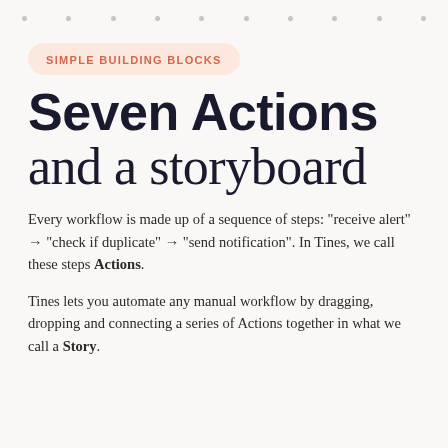· · · · · · · · · ·
SIMPLE BUILDING BLOCKS
Seven Actions and a storyboard
Every workflow is made up of a sequence of steps: "receive alert" → "check if duplicate" → "send notification". In Tines, we call these steps Actions.
Tines lets you automate any manual workflow by dragging, dropping and connecting a series of Actions together in what we call a Story.